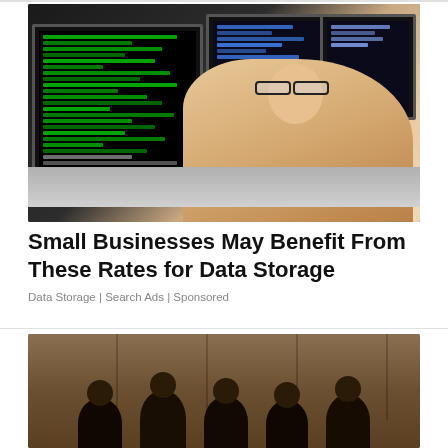[Figure (photo): Woman with glasses smiling at camera while sitting in front of multiple computer monitors displaying code/data, in a tech workspace setting]
Small Businesses May Benefit From These Rates for Data Storage
Data Storage | Search Ads | Sponsored
[Figure (photo): Group of people (partially visible) standing against a wood-paneled wall background]